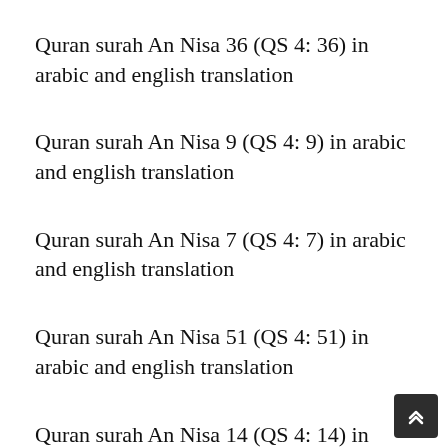Quran surah An Nisa 36 (QS 4: 36) in arabic and english translation
Quran surah An Nisa 9 (QS 4: 9) in arabic and english translation
Quran surah An Nisa 7 (QS 4: 7) in arabic and english translation
Quran surah An Nisa 51 (QS 4: 51) in arabic and english translation
Quran surah An Nisa 14 (QS 4: 14) in arabic and english translation